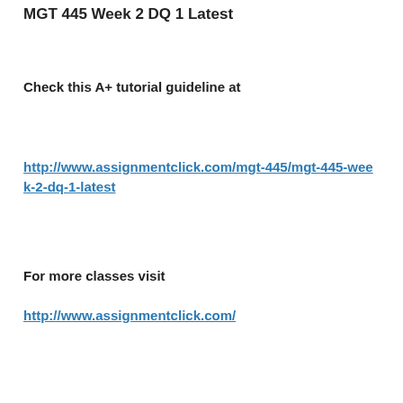MGT 445 Week 2 DQ 1 Latest
Check this A+ tutorial guideline at
http://www.assignmentclick.com/mgt-445/mgt-445-week-2-dq-1-latest
For more classes visit
http://www.assignmentclick.com/